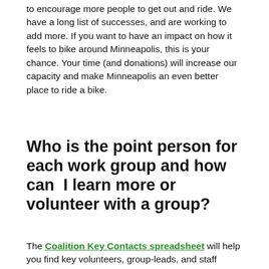to encourage more people to get out and ride. We have a long list of successes, and are working to add more. If you want to have an impact on how it feels to bike around Minneapolis, this is your chance. Your time (and donations) will increase our capacity and make Minneapolis an even better place to ride a bike.
Who is the point person for each work group and how can I learn more or volunteer with a group?
The Coalition Key Contacts spreadsheet will help you find key volunteers, group-leads, and staff members by work group.